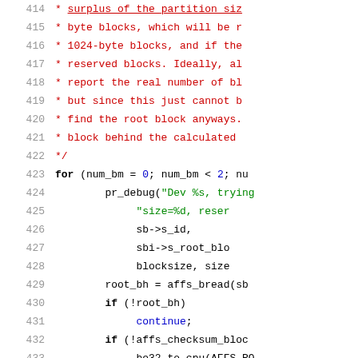[Figure (screenshot): Source code listing (C language) showing lines 415–435 with line numbers on the left, comment lines in red, keywords and identifiers in black, string literals in green, and numeric literals in blue.]